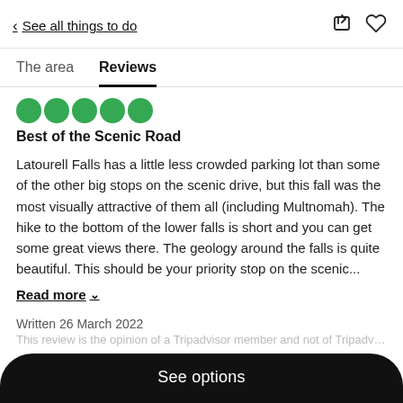< See all things to do
Reviews
Best of the Scenic Road
Latourell Falls has a little less crowded parking lot than some of the other big stops on the scenic drive, but this fall was the most visually attractive of them all (including Multnomah). The hike to the bottom of the lower falls is short and you can get some great views there. The geology around the falls is quite beautiful. This should be your priority stop on the scenic...
Read more
Written 26 March 2022
See options